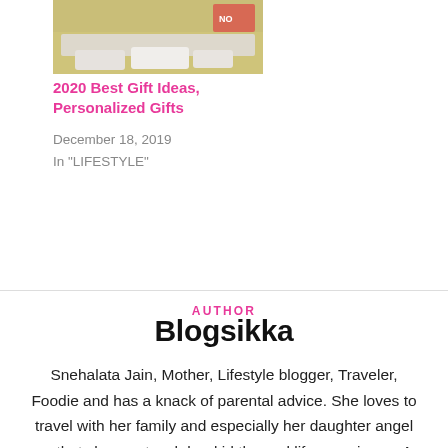[Figure (photo): A bedroom scene showing a bed with pillows against a headboard, olive/yellow wall in background]
2020 Best Gift Ideas, Personalized Gifts
December 18, 2019
In "LIFESTYLE"
AUTHOR
Blogsikka
Snehalata Jain, Mother, Lifestyle blogger, Traveler, Foodie and has a knack of parental advice. She loves to travel with her family and especially her daughter angel so that she can teach her kid the real life experience. A Micro Biologist and